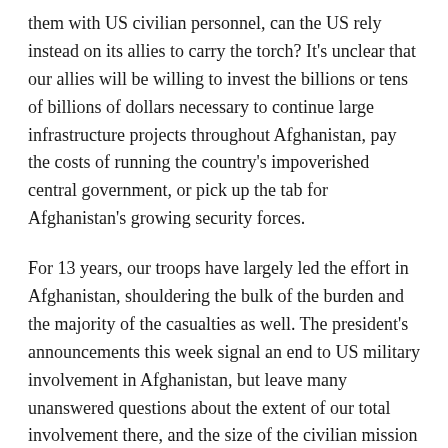them with US civilian personnel, can the US rely instead on its allies to carry the torch? It's unclear that our allies will be willing to invest the billions or tens of billions of dollars necessary to continue large infrastructure projects throughout Afghanistan, pay the costs of running the country's impoverished central government, or pick up the tab for Afghanistan's growing security forces.
For 13 years, our troops have largely led the effort in Afghanistan, shouldering the bulk of the burden and the majority of the casualties as well. The president's announcements this week signal an end to US military involvement in Afghanistan, but leave many unanswered questions about the extent of our total involvement there, and the size of the civilian mission that will remain after the last combat troops come home.
—By arrangement with Foreign Policy-Washington Post